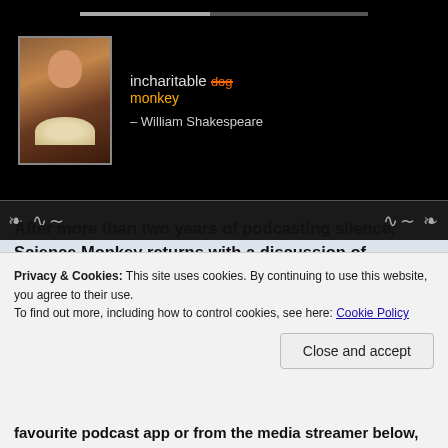[Figure (screenshot): Podcast player screenshot showing a portrait of a Renaissance figure in ruff collar, with text 'incharitable' struck through in orange and 'monkey' in orange below, attributed to William Shakespeare, with ornamental bar and progress indicator]
After more than two years of podcasting silence, Science Monkey returns with a discussion of.... Monkeypox! Graham and Ray run down what we know of this disease, whether it really is a public health threat, and whether the poor monkeys really are to blame. Also: how much sex do men think women have on a monthly basis? What really is the
Privacy & Cookies: This site uses cookies. By continuing to use this website, you agree to their use.
To find out more, including how to control cookies, see here: Cookie Policy
Close and accept
favourite podcast app or from the media streamer below,